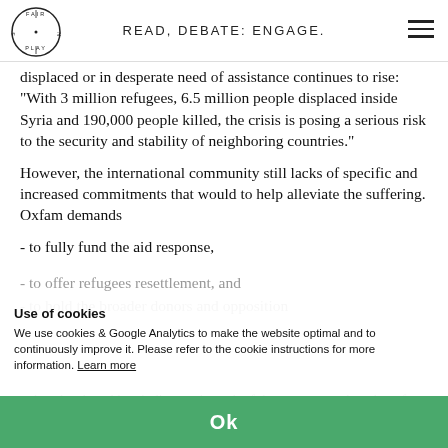READ, DEBATE: ENGAGE.
displaced or in desperate need of assistance continues to rise: "With 3 million refugees, 6.5 million people displaced inside Syria and 190,000 people killed, the crisis is posing a serious risk to the security and stability of neighboring countries."
However, the international community still lacks of specific and increased commitments that would to help alleviate the suffering. Oxfam demands
- to fully fund the aid response,
- to offer refugees resettlement, and
- to hold the broader donors and opposition
... has developed key indicators in each of these areas, to show how far the international community is falling short of what is needed.